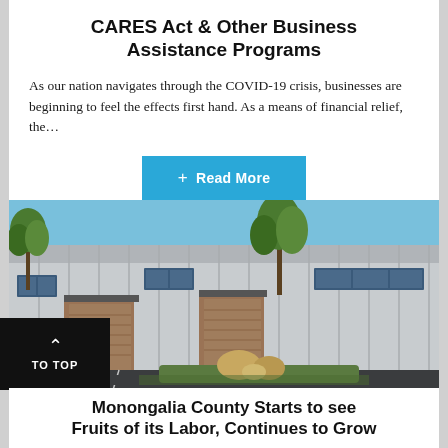CARES Act & Other Business Assistance Programs
As our nation navigates through the COVID-19 crisis, businesses are beginning to feel the effects first hand. As a means of financial relief, the…
+ Read More
[Figure (photo): Exterior photo of a modern commercial/industrial building with metal cladding, wood accents, large windows, trees in the landscaping, and large decorative boulders in the foreground parking area. Clear blue sky in background.]
TO TOP
Monongalia County Starts to see Fruits of its Labor, Continues to Grow